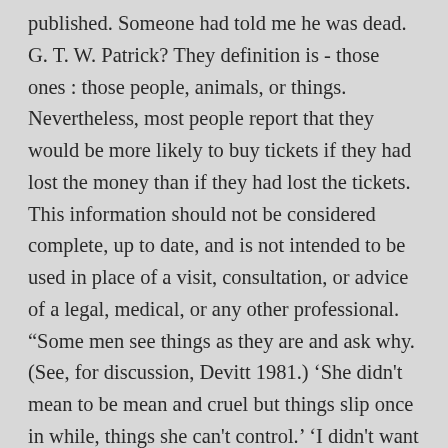published. Someone had told me he was dead. G. T. W. Patrick? They definition is - those ones : those people, animals, or things. Nevertheless, most people report that they would be more likely to buy tickets if they had lost the money than if they had lost the tickets. This information should not be considered complete, up to date, and is not intended to be used in place of a visit, consultation, or advice of a legal, medical, or any other professional. “Some men see things as they are and ask why. (See, for discussion, Devitt 1981.) ‘She didn't mean to be mean and cruel but things slip once in while, things she can't control.’ ‘I didn't want to be mean to Jes, but Morgan had taken over.’ ‘You know, people